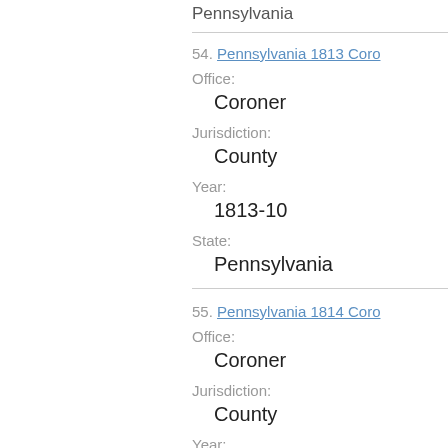Pennsylvania
54. Pennsylvania 1813 Coro
Office:
Coroner
Jurisdiction:
County
Year:
1813-10
State:
Pennsylvania
55. Pennsylvania 1814 Coro
Office:
Coroner
Jurisdiction:
County
Year:
1814-10
State: